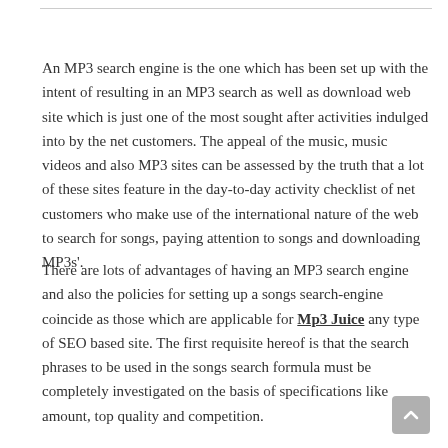An MP3 search engine is the one which has been set up with the intent of resulting in an MP3 search as well as download web site which is just one of the most sought after activities indulged into by the net customers. The appeal of the music, music videos and also MP3 sites can be assessed by the truth that a lot of these sites feature in the day-to-day activity checklist of net customers who make use of the international nature of the web to search for songs, paying attention to songs and downloading MP3s'.
There are lots of advantages of having an MP3 search engine and also the policies for setting up a songs search-engine coincide as those which are applicable for Mp3 Juice any type of SEO based site. The first requisite hereof is that the search phrases to be used in the songs search formula must be completely investigated on the basis of specifications like amount, top quality and competition.